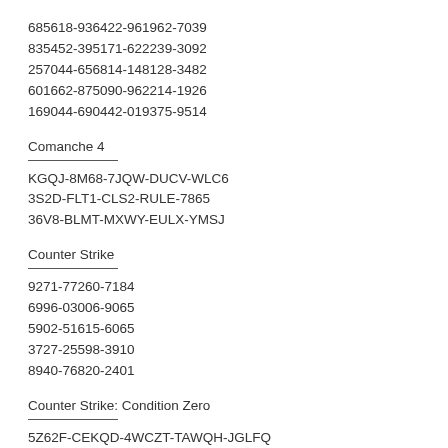685618-936422-961962-7039
835452-395171-622239-3092
257044-656814-148128-3482
601662-875090-962214-1926
169044-690442-019375-9514
Comanche 4
KGQJ-8M68-7JQW-DUCV-WLC6
3S2D-FLT1-CLS2-RULE-7865
36V8-BLMT-MXWY-EULX-YMSJ
Counter Strike
9271-77260-7184
6996-03006-9065
5902-51615-6065
3727-25598-3910
8940-76820-2401
Counter Strike: Condition Zero
5Z62F-CEKQD-4WCZT-TAWQH-JGLFQ
54RT2-843T1-79UJC-7GVC5-AB3B2